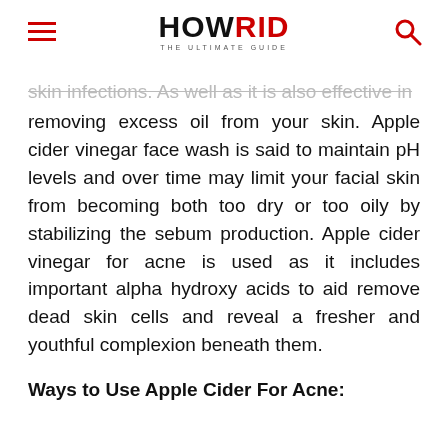HOW RID THE ULTIMATE GUIDE
skin infections. As well as it is also effective in removing excess oil from your skin. Apple cider vinegar face wash is said to maintain pH levels and over time may limit your facial skin from becoming both too dry or too oily by stabilizing the sebum production. Apple cider vinegar for acne is used as it includes important alpha hydroxy acids to aid remove dead skin cells and reveal a fresher and youthful complexion beneath them.
Ways to Use Apple Cider For Acne: